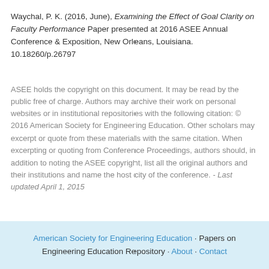Waychal, P. K. (2016, June), Examining the Effect of Goal Clarity on Faculty Performance Paper presented at 2016 ASEE Annual Conference & Exposition, New Orleans, Louisiana. 10.18260/p.26797
ASEE holds the copyright on this document. It may be read by the public free of charge. Authors may archive their work on personal websites or in institutional repositories with the following citation: © 2016 American Society for Engineering Education. Other scholars may excerpt or quote from these materials with the same citation. When excerpting or quoting from Conference Proceedings, authors should, in addition to noting the ASEE copyright, list all the original authors and their institutions and name the host city of the conference. - Last updated April 1, 2015
American Society for Engineering Education · Papers on Engineering Education Repository · About · Contact